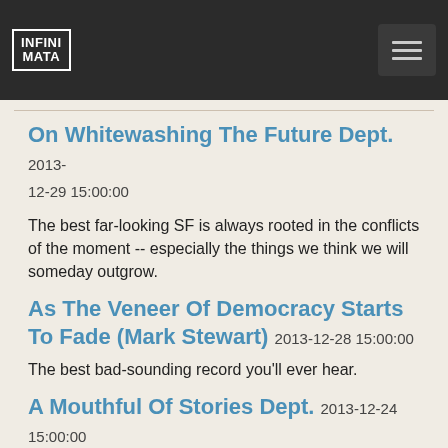INFINI MATA
On Whitewashing The Future Dept. 2013-12-29 15:00:00
The best far-looking SF is always rooted in the conflicts of the moment -- especially the things we think we will someday outgrow.
As The Veneer Of Democracy Starts To Fade (Mark Stewart) 2013-12-28 15:00:00
The best bad-sounding record you'll ever hear.
A Mouthful Of Stories Dept. 2013-12-24 15:00:00
Great writing and great cuisine, compared.
This And $2.50 Gets You A Ride On